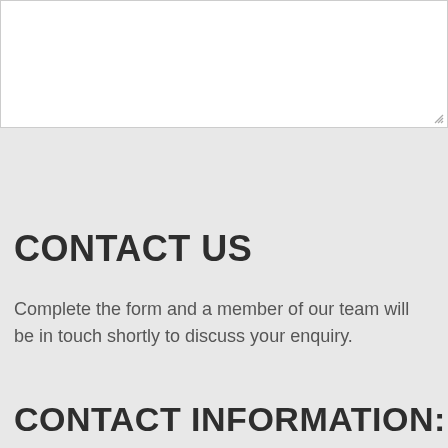[Figure (other): White textarea input box with resize handle in bottom right corner]
CONTACT US
Complete the form and a member of our team will be in touch shortly to discuss your enquiry.
CONTACT INFORMATION: